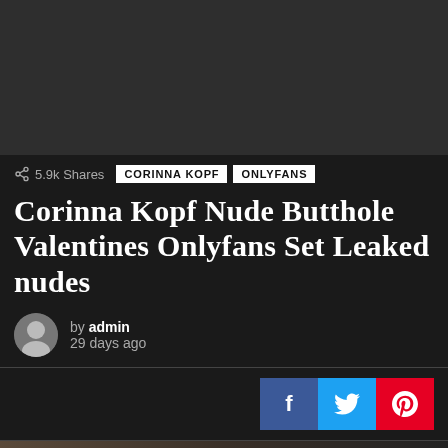[Figure (photo): Dark gray rectangular image placeholder at top of article]
5.9k Shares
CORINNA KOPF   ONLYFANS
Corinna Kopf Nude Butthole Valentines Onlyfans Set Leaked nudes
by admin
29 days ago
[Figure (photo): Partial photo at bottom of page, warm tones]